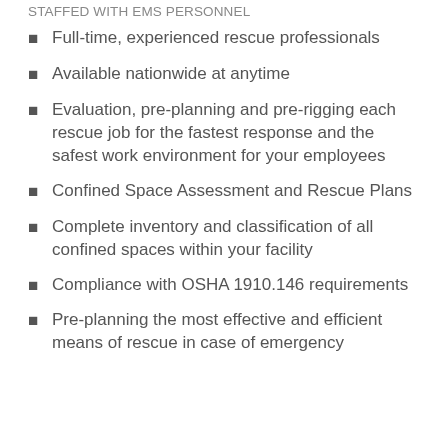STAFFED WITH EMS PERSONNEL
Full-time, experienced rescue professionals
Available nationwide at anytime
Evaluation, pre-planning and pre-rigging each rescue job for the fastest response and the safest work environment for your employees
Confined Space Assessment and Rescue Plans
Complete inventory and classification of all confined spaces within your facility
Compliance with OSHA 1910.146 requirements
Pre-planning the most effective and efficient means of rescue in case of emergency